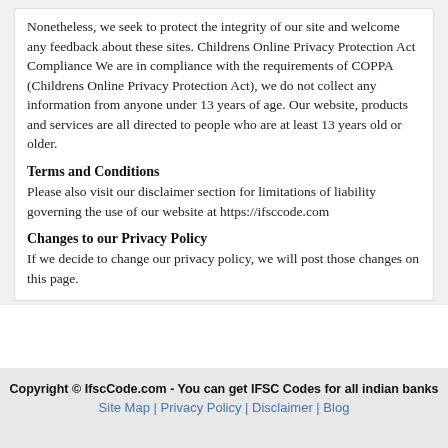Nonetheless, we seek to protect the integrity of our site and welcome any feedback about these sites. Childrens Online Privacy Protection Act Compliance We are in compliance with the requirements of COPPA (Childrens Online Privacy Protection Act), we do not collect any information from anyone under 13 years of age. Our website, products and services are all directed to people who are at least 13 years old or older.
Terms and Conditions
Please also visit our disclaimer section for limitations of liability governing the use of our website at https://ifsccode.com
Changes to our Privacy Policy
If we decide to change our privacy policy, we will post those changes on this page.
Copyright © IfscCode.com - You can get IFSC Codes for all indian banks
Site Map | Privacy Policy | Disclaimer | Blog